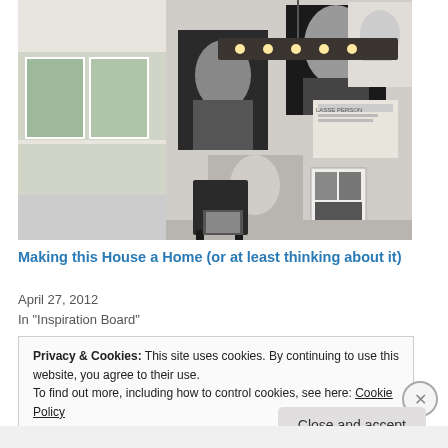[Figure (photo): Interior room photo showing a wall gallery with black and white portrait photographs and sketches, an industrial pendant light fixture with exposed bulbs hanging from the ceiling, and a black chair in the foreground. Natural light comes through a window on the left.]
Making this House a Home (or at least thinking about it)
April 27, 2012
In "Inspiration Board"
Privacy & Cookies: This site uses cookies. By continuing to use this website, you agree to their use.
To find out more, including how to control cookies, see here: Cookie Policy